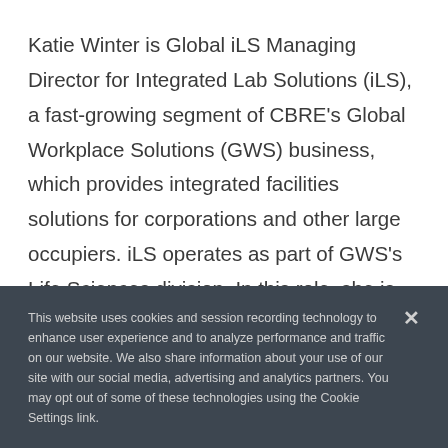Katie Winter is Global iLS Managing Director for Integrated Lab Solutions (iLS), a fast-growing segment of CBRE's Global Workplace Solutions (GWS) business, which provides integrated facilities solutions for corporations and other large occupiers. iLS operates as part of GWS's Life Sciences division. In this role, she is responsible for positioning CBRE as the recognized leader in lab asset services for pharmaceutical, biotech, healthcare, and other life
This website uses cookies and session recording technology to enhance user experience and to analyze performance and traffic on our website. We also share information about your use of our site with our social media, advertising and analytics partners. You may opt out of some of these technologies using the Cookie Settings link.